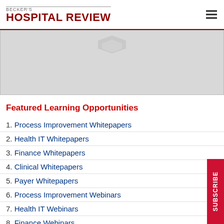BECKER'S HOSPITAL REVIEW
[Figure (other): Gray banner placeholder image with a small gray icon/logo in the upper center area]
Featured Learning Opportunities
1. Process Improvement Whitepapers
2. Health IT Whitepapers
3. Finance Whitepapers
4. Clinical Whitepapers
5. Payer Whitepapers
6. Process Improvement Webinars
7. Health IT Webinars
8. Finance Webinars
9. Clinical Webinars